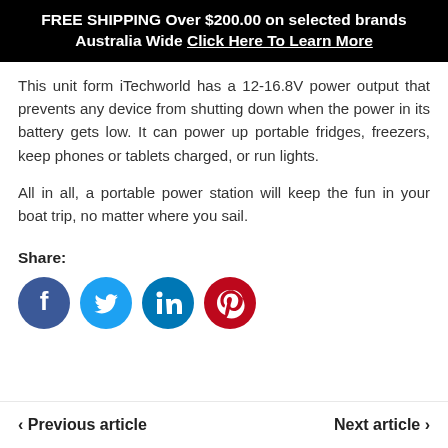FREE SHIPPING Over $200.00 on selected brands Australia Wide Click Here To Learn More
This unit form iTechworld has a 12-16.8V power output that prevents any device from shutting down when the power in its battery gets low. It can power up portable fridges, freezers, keep phones or tablets charged, or run lights.
All in all, a portable power station will keep the fun in your boat trip, no matter where you sail.
Share:
[Figure (infographic): Row of four social media icon circles: Facebook (dark blue), Twitter (light blue), LinkedIn (medium blue), Pinterest (red)]
‹ Previous article    Next article ›